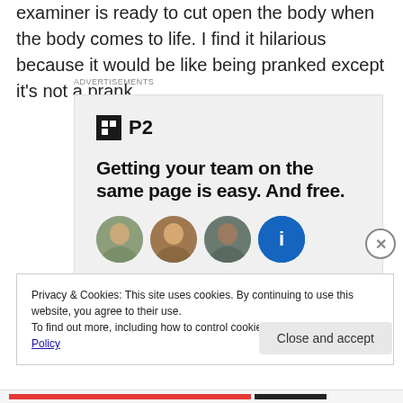examiner is ready to cut open the body when the body comes to life. I find it hilarious because it would be like being pranked except it's not a prank.
[Figure (screenshot): Advertisement banner for P2 app showing logo, headline 'Getting your team on the same page is easy. And free.' with circular user avatars below]
Privacy & Cookies: This site uses cookies. By continuing to use this website, you agree to their use.
To find out more, including how to control cookies, see here: Cookie Policy
Close and accept